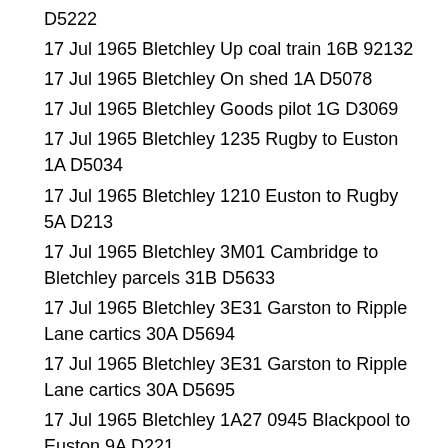D5222
17 Jul 1965 Bletchley Up coal train 16B 92132
17 Jul 1965 Bletchley On shed 1A D5078
17 Jul 1965 Bletchley Goods pilot 1G D3069
17 Jul 1965 Bletchley 1235 Rugby to Euston 1A D5034
17 Jul 1965 Bletchley 1210 Euston to Rugby 5A D213
17 Jul 1965 Bletchley 3M01 Cambridge to Bletchley parcels 31B D5633
17 Jul 1965 Bletchley 3E31 Garston to Ripple Lane cartics 30A D5694
17 Jul 1965 Bletchley 3E31 Garston to Ripple Lane cartics 30A D5695
17 Jul 1965 Bletchley 1A27 0945 Blackpool to Euston 9A D221
17 Jul 1965 Bletchley Down light engine 5A D298